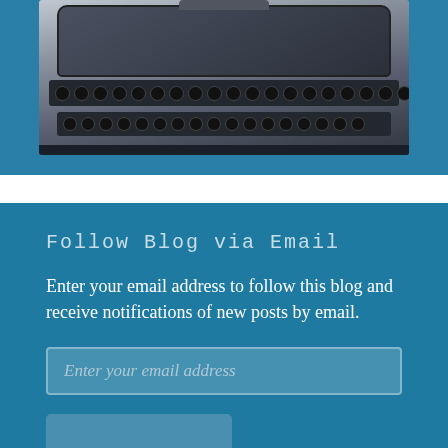[Figure (photo): Overhead/angled view of a vintage dark grey typewriter with visible keys and keyboard rows, against a light grey/blue background.]
Follow Blog via Email
Enter your email address to follow this blog and receive notifications of new posts by email.
Enter your email address